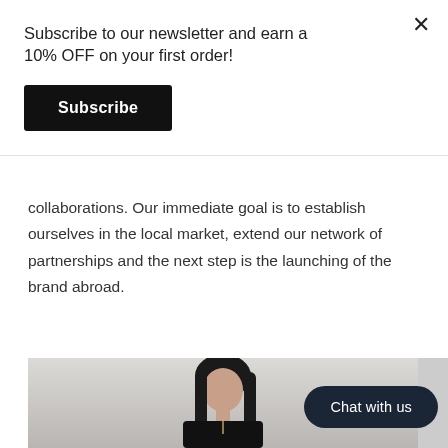Subscribe to our newsletter and earn a 10% OFF on your first order!
Subscribe
collaborations. Our immediate goal is to establish ourselves in the local market, extend our network of partnerships and the next step is the launching of the brand abroad.
[Figure (photo): Portrait photo of a young woman with long dark hair wearing a black outfit with a necklace, against a light grey background]
Chat with us